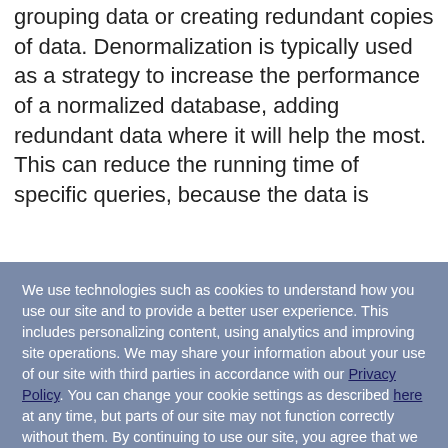grouping data or creating redundant copies of data. Denormalization is typically used as a strategy to increase the performance of a normalized database, adding redundant data where it will help the most. This can reduce the running time of specific queries, because the data is
We use technologies such as cookies to understand how you use our site and to provide a better user experience. This includes personalizing content, using analytics and improving site operations. We may share your information about your use of our site with third parties in accordance with our Privacy Policy. You can change your cookie settings as described here at any time, but parts of our site may not function correctly without them. By continuing to use our site, you agree that we can save cookies on your device, unless you have disabled cookies.
I Accept